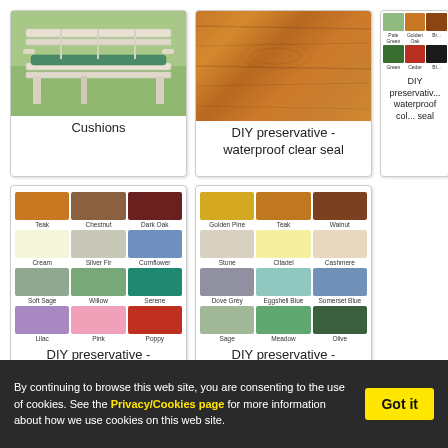[Figure (photo): Wooden garden bench with green cushion on grass background]
Cushions
[Figure (photo): Close-up of wooden planks with clear waterproof seal finish showing natural wood grain]
DIY preservative - waterproof clear seal
[Figure (photo): Color swatches showing Pale Green, Golden Oak, Brown (top row) and Green, Cedar, Black (bottom row) for DIY preservative waterproof colour seal]
DIY preservative - waterproof colour seal
[Figure (illustration): Color swatches grid: Teak, Chestnut, Dark Oak, Cream, Silver Fir, Cornflower, Soft Sage, Willow, Serene, Lilac, Pink, Poppy]
DIY preservative - microporous - 4 star
[Figure (illustration): Color swatches grid: Golden Pine, Teak, Walnut, Stone, Citadel, Cashmere, Dove Grey, Eggshell Blue, Somerset Blue, Sage, Meadow, Olive]
DIY preservative - microporous - 5 star
By continuing to browse this web site, you are consenting to the use of cookies. See the Privacy/Cookies page for more information about how we use cookies on this web site.